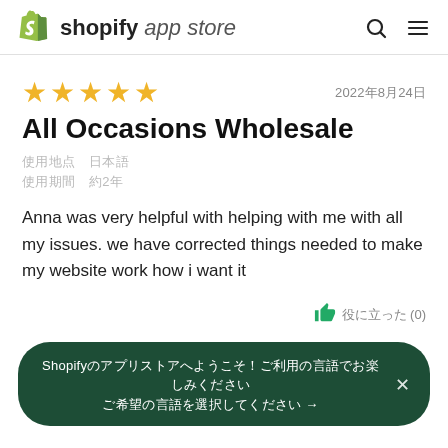shopify app store
2022年8月24日
All Occasions Wholesale
使用地点　日本語
使用期間　約2年
Anna was very helpful with helping with me with all my issues. we have corrected things needed to make my website work how i want it
役に立った (0)
Shopifyのアプリストアへようこそ！ご利用の言語でお楽しみください →